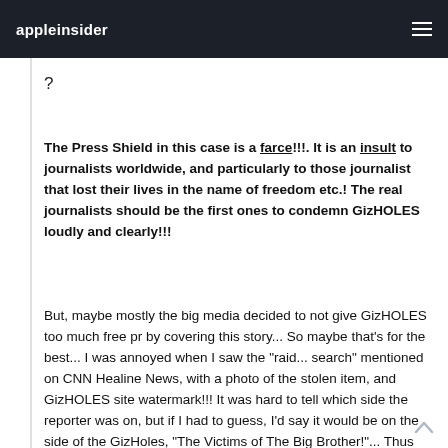appleinsider
?
The Press Shield in this case is a farce!!!. It is an insult to journalists worldwide, and particularly to those journalist that lost their lives in the name of freedom etc.! The real journalists should be the first ones to condemn GizHOLES loudly and clearly!!!
But, maybe mostly the big media decided to not give GizHOLES too much free pr by covering this story... So maybe that's for the best... I was annoyed when I saw the "raid... search" mentioned on CNN Healine News, with a photo of the stolen item, and GizHOLES site watermark!!! It was hard to tell which side the reporter was on, but if I had to guess, I'd say it would be on the side of the GizHoles, "The Victims of The Big Brother!"... Thus another "deposit" inot